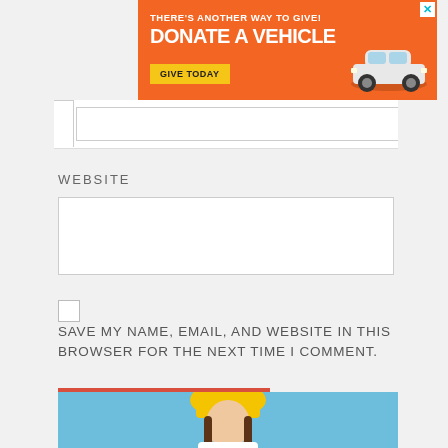[Figure (infographic): Orange banner ad: THERE'S ANOTHER WAY TO GIVE! DONATE A VEHICLE GIVE TODAY with white car illustration]
WEBSITE
[Figure (screenshot): Website input text field (empty)]
SAVE MY NAME, EMAIL, AND WEBSITE IN THIS BROWSER FOR THE NEXT TIME I COMMENT.
POST COMMENT
[Figure (photo): Woman wearing yellow knit beanie hat, white turtleneck, red lipstick, confused/annoyed expression with hands raised, blue background]